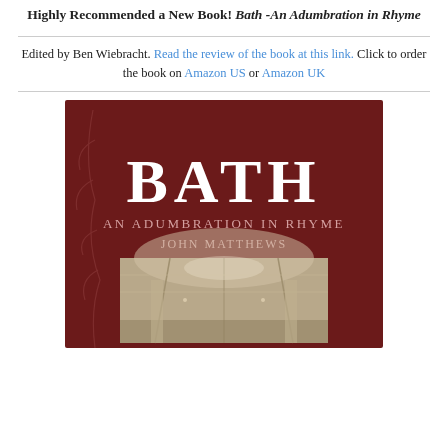Highly Recommended a New Book! Bath -An Adumbration in Rhyme
Edited by Ben Wiebracht. Read the review of the book at this link. Click to order the book on Amazon US or Amazon UK
[Figure (photo): Book cover of 'Bath: An Adumbration in Rhyme' by John Matthews. Dark red/maroon background with large white serif text reading 'BATH', subtitle 'AN ADUMBRATION IN RHYME', author 'JOHN MATTHEWS', and a sepia-toned interior architectural photo at the bottom.]